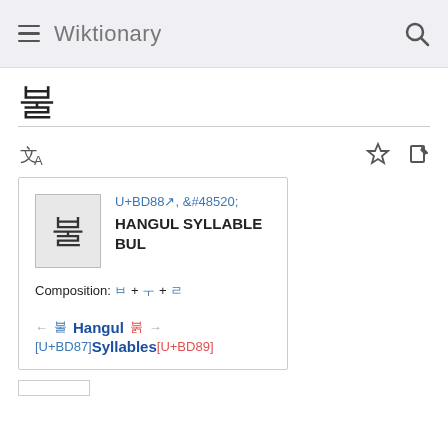Wiktionary
불
U+BD88, &#48520; HANGUL SYLLABLE BUL
Composition: ㅂ + ㅜ + ㄹ
← 불 Hangul 붉 → [U+BD87] Syllables [U+BD89]